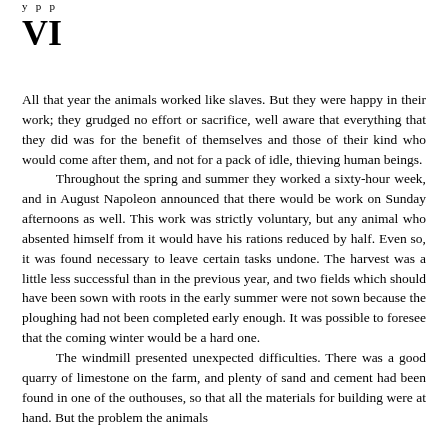y p p
VI
All that year the animals worked like slaves. But they were happy in their work; they grudged no effort or sacrifice, well aware that everything that they did was for the benefit of themselves and those of their kind who would come after them, and not for a pack of idle, thieving human beings.
	Throughout the spring and summer they worked a sixty-hour week, and in August Napoleon announced that there would be work on Sunday afternoons as well. This work was strictly voluntary, but any animal who absented himself from it would have his rations reduced by half. Even so, it was found necessary to leave certain tasks undone. The harvest was a little less successful than in the previous year, and two fields which should have been sown with roots in the early summer were not sown because the ploughing had not been completed early enough. It was possible to foresee that the coming winter would be a hard one.
	The windmill presented unexpected difficulties. There was a good quarry of limestone on the farm, and plenty of sand and cement had been found in one of the outhouses, so that all the materials for building were at hand. But the problem the animals